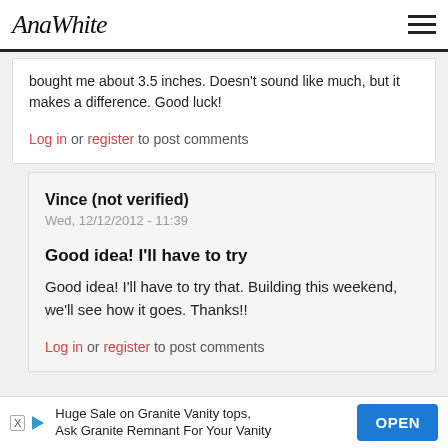AnaWhite
bought me about 3.5 inches. Doesn't sound like much, but it makes a difference. Good luck!
Log in or register to post comments
Vince (not verified)
Wed, 12/12/2012 - 11:39
Good idea! I'll have to try
Good idea! I'll have to try that. Building this weekend, we'll see how it goes. Thanks!!
Log in or register to post comments
Huge Sale on Granite Vanity tops, Ask Granite Remnant For Your Vanity